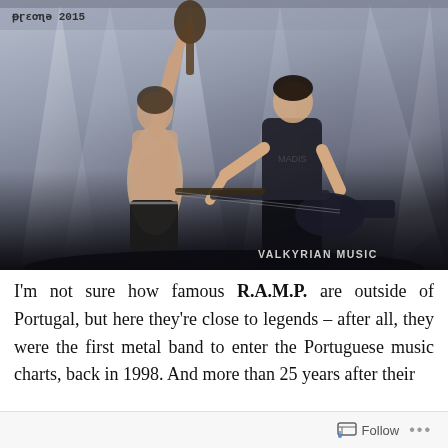[Figure (photo): Two musicians on stage with dramatic stage lighting beams. Left figure is shirtless holding a guitar up, right figure wears a dark t-shirt and plays bass guitar. Watermark 'VALKYRIAN MUSIC' in bottom right, and a logo in top left.]
I'm not sure how famous R.A.M.P. are outside of Portugal, but here they're close to legends – after all, they were the first metal band to enter the Portuguese music charts, back in 1998. And more than 25 years after their
Follow ···